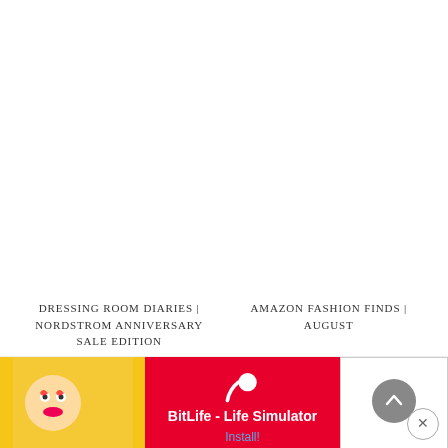DRESSING ROOM DIARIES | NORDSTROM ANNIVERSARY SALE EDITION
AMAZON FASHION FINDS | AUGUST
PREVIOUS ARTICLE: THE GUEST ROOM | ADDING WALLPAPER
NEXT ARTICLE: BEHIND-THE-SCENES OF THE GIBSON X HI
[Figure (screenshot): Ad banner for BitLife - Life Simulator app with install button]